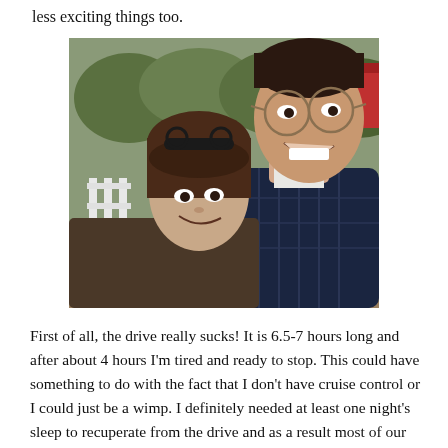less exciting things too.
[Figure (photo): A smiling couple posing close together outdoors. The man on the right wears glasses and a dark plaid shirt; the woman on the left has brown hair with bangs and sunglasses on her head. Trees and a red structure are visible in the background.]
First of all, the drive really sucks! It is 6.5-7 hours long and after about 4 hours I'm tired and ready to stop. This could have something to do with the fact that I don't have cruise control or I could just be a wimp. I definitely needed at least one night's sleep to recuperate from the drive and as a result most of our plans for Saturday were a wash. We